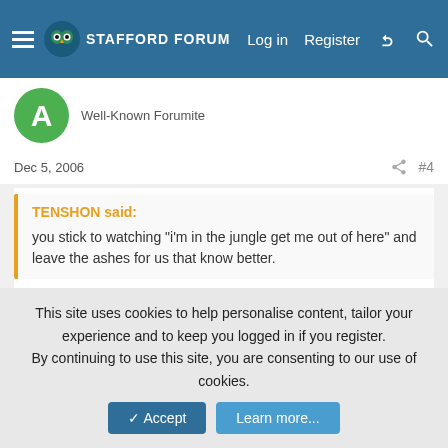STAFFORD FORUM — Log in  Register
Well-Known Forumite
Dec 5, 2006   #4
TENSHON said:
you stick to watching "i'm in the jungle get me out of here" and leave the ashes for us that know better.
I concur.
[Figure (illustration): Smiley face emoji]
BBC — You knows it
This site uses cookies to help personalise content, tailor your experience and to keep you logged in if you register.
By continuing to use this site, you are consenting to our use of cookies.
Accept   Learn more...